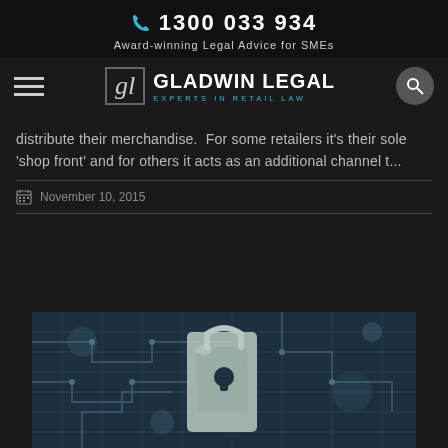1300 033 934
Award-winning Legal Advice for SMEs
[Figure (logo): Gladwin Legal logo with stylized 'gl' script inside a box, followed by 'GLADWIN LEGAL' and 'EXPERTS IN RETAIL LAW' below in teal]
distribute their merchandise.  For some retailers it's their sole 'shop front' and for others it acts as an additional channel t...
November 10, 2015
[Figure (photo): A teal-tinted photo of a padlock on a circuit board, suggesting cybersecurity or digital security theme]